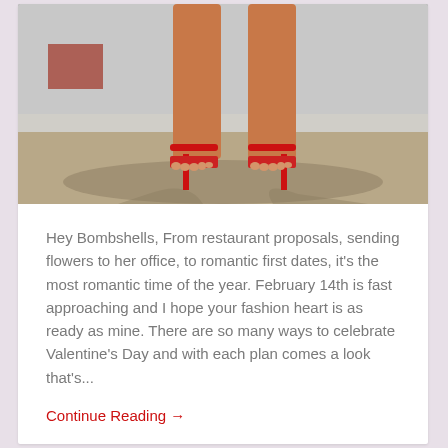[Figure (photo): Close-up photo of a woman's legs wearing red strappy high-heel sandals, standing on concrete pavement against a white wall]
Hey Bombshells, From restaurant proposals, sending flowers to her office, to romantic first dates, it's the most romantic time of the year. February 14th is fast approaching and I hope your fashion heart is as ready as mine. There are so many ways to celebrate Valentine's Day and with each plan comes a look that's...
Continue Reading →